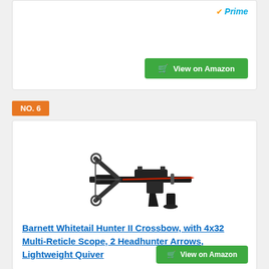[Figure (screenshot): Partial top product card with Prime logo and View on Amazon green button]
NO. 6
[Figure (photo): Barnett Whitetail Hunter II Crossbow product photo on white background]
Barnett Whitetail Hunter II Crossbow, with 4x32 Multi-Reticle Scope, 2 Headhunter Arrows, Lightweight Quiver
[Figure (logo): Amazon Prime logo with checkmark]
View on Amazon